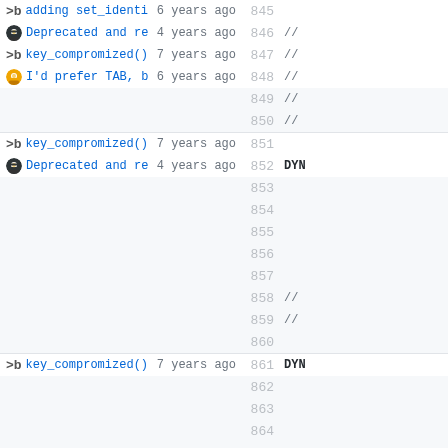| blame | commit_message | time | line_number | code |
| --- | --- | --- | --- | --- |
| >b | adding set_identity_flags() | 6 years ago | 845 |  |
| ninja | Deprecated and replaced misspell... | 4 years ago | 846 | // |
| >b | key_compromized() added | 7 years ago | 847 | // |
| emoji | I'd prefer TAB, but most of the ... | 6 years ago | 848 | // |
|  |  |  | 849 | // |
|  |  |  | 850 | // |
| >b | key_compromized() added | 7 years ago | 851 |  |
| ninja | Deprecated and replaced misspell... | 4 years ago | 852 | DYN |
|  |  |  | 853 |  |
|  |  |  | 854 |  |
|  |  |  | 855 |  |
|  |  |  | 856 |  |
|  |  |  | 857 |  |
|  |  |  | 858 | // |
|  |  |  | 859 | // |
|  |  |  | 860 |  |
| >b | key_compromized() added | 7 years ago | 861 | DYN |
|  |  |  | 862 |  |
|  |  |  | 863 |  |
|  |  |  | 864 |  |
|  |  |  | 865 |  |
|  |  |  | 866 |  |